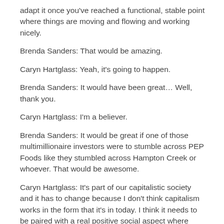adapt it once you've reached a functional, stable point where things are moving and flowing and working nicely.
Brenda Sanders: That would be amazing.
Caryn Hartglass: Yeah, it's going to happen.
Brenda Sanders: It would have been great… Well, thank you.
Caryn Hartglass: I'm a believer.
Brenda Sanders: It would be great if one of those multimillionaire investors were to stumble across PEP Foods like they stumbled across Hampton Creek or whoever. That would be awesome.
Caryn Hartglass: It's part of our capitalistic society and it has to change because I don't think capitalism works in the form that it's in today. I think it needs to be paired with a real positive social aspect where you're making money but you're doing only good things for society. Otherwise it doesn't work. So I would like to see some of these philanthropists and investors think about the societal benefit and not just the tremendous return on investment